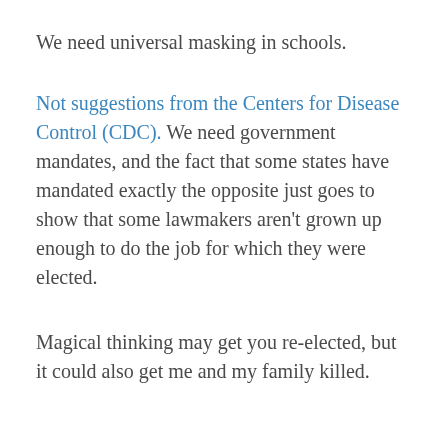We need universal masking in schools.
Not suggestions from the Centers for Disease Control (CDC). We need government mandates, and the fact that some states have mandated exactly the opposite just goes to show that some lawmakers aren't grown up enough to do the job for which they were elected.
Magical thinking may get you re-elected, but it could also get me and my family killed.